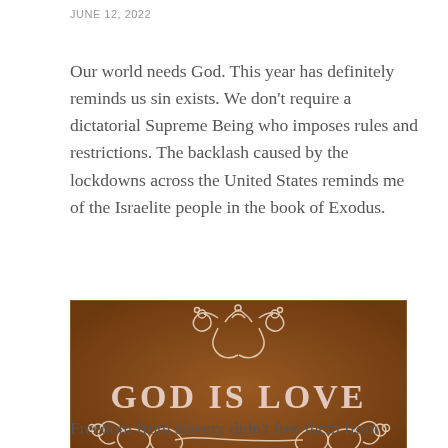JUNE 12, 2022
Our world needs God. This year has definitely reminds us sin exists. We don't require a dictatorial Supreme Being who imposes rules and restrictions. The backlash caused by the lockdowns across the United States reminds me of the Israelite people in the book of Exodus.
[Figure (illustration): Decorative image with brown textured background, ornate white scrollwork and floral designs forming a heart shape at top and infinity-like scrolls at bottom, with text 'GOD IS LOVE' in large white serif letters in the center.]
Freedom from slavery didn't free them from selfish